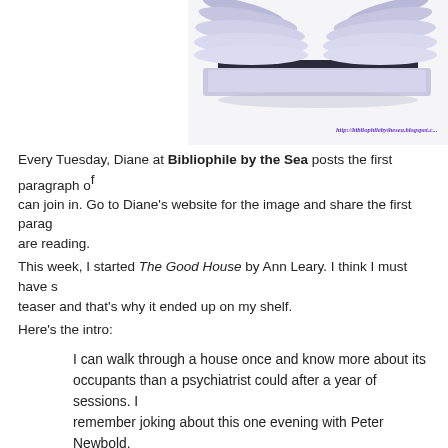[Figure (photo): Open book with purple-tinted pages fanned out, viewed from above, on white background. URL watermark reading http://bibliophilebythesea.blogspot.c... visible at bottom right.]
Every Tuesday, Diane at Bibliophile by the Sea posts the first paragraph of a new book so you can join in. Go to Diane's website for the image and share the first paragraph of the book you are reading.
This week, I started The Good House by Ann Leary. I think I must have seen a teaser and that's why it ended up on my shelf.
Here's the intro:
I can walk through a house once and know more about its occupants than a psychiatrist could after a year of sessions. I remember joking about this one evening with Peter Newbold, the shrink who rents the office upstairs from mine.
I like this intro and I'm hoping the rest of the book lives up to it.
Also this week is Teaser Tuesdays. Teaser Tuesdays is a weekly bookish meme, hosted by MizB of Should Be Reading. Anyone can play along! Open to a random page of your current read and share a teaser sentence from somewhere on that page. BE CAREFUL NOT TO INCLUDE SPOILERS! Share the title & author, too, so that other